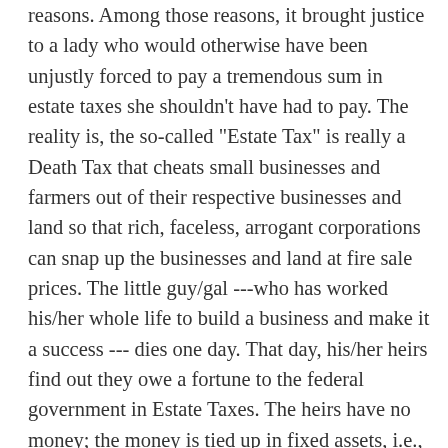reasons.  Among those reasons, it brought justice to a lady who would otherwise have been unjustly forced to pay a tremendous sum in estate taxes she shouldn't have had to pay.   The reality is, the so-called "Estate Tax" is really a Death Tax that cheats small businesses and farmers out of their respective businesses and land so that rich, faceless, arrogant corporations can snap up the businesses and land at fire sale prices.  The little guy/gal ---who has worked his/her whole life to build a business and make it a success --- dies one day.  That day, his/her heirs find out they owe a fortune to the federal government in Estate Taxes.  The heirs have no money; the money is tied up in fixed assets, i.e., the farm land or the business itself.  In order to pay the huge estate tax, the heirs are forced to sell the business.  Who buys it?
The large corporations, of course.  The corporations pay